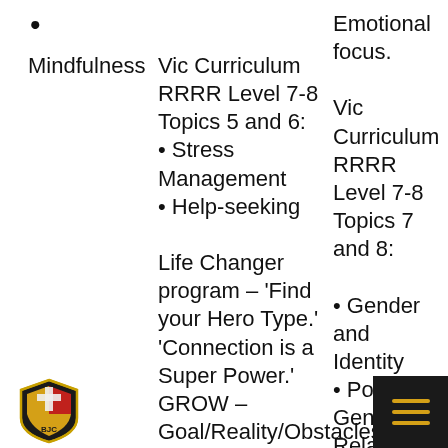•
Mindfulness
Vic Curriculum RRRR Level 7-8 Topics 5 and 6:
• Stress Management
• Help-seeking

Life Changer program – 'Find your Hero Type.'
'Connection is a Super Power.'
GROW – Goal/Reality/Obstacles
Emotional focus.

Vic Curriculum RRRR Level 7-8 Topics 7 and 8:
• Gender and Identity
• Positive Gender Relations.

Year 8 Renewals.
• Our Courage
[Figure (logo): School crest/shield logo with cross and initials BJC in red, gold, and black]
[Figure (other): Dark hamburger menu button with three gold horizontal lines]